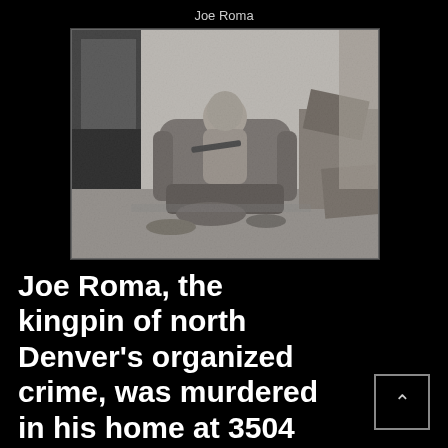Joe Roma
[Figure (photo): Black and white crime scene photograph showing a person slumped in an armchair in a cluttered room, with debris and items scattered on the floor around the chair.]
Joe Roma, the kingpin of north Denver's organized crime, was murdered in his home at 3504 Navajo Street on February 18, 1933 while practicing the